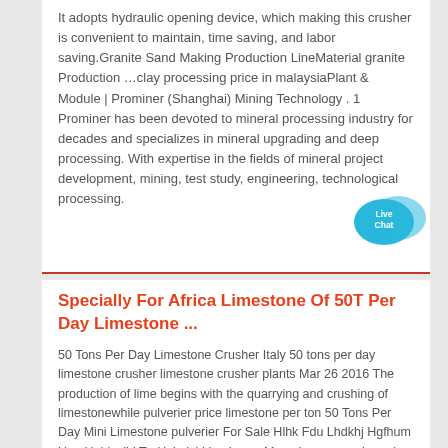It adopts hydraulic opening device, which making this crusher is convenient to maintain, time saving, and labor saving.Granite Sand Making Production LineMaterial granite Production …clay processing price in malaysiaPlant & Module | Prominer (Shanghai) Mining Technology . 1 Prominer has been devoted to mineral processing industry for decades and specializes in mineral upgrading and deep processing. With expertise in the fields of mineral project development, mining, test study, engineering, technological processing.
[Figure (other): Live Chat button — two overlapping speech bubble icons in cyan/blue with white text 'Live Chat']
Specially For Africa Limestone Of 50T Per Day Limestone ...
50 Tons Per Day Limestone Crusher Italy 50 tons per day limestone crusher limestone crusher plants Mar 26 2016 The production of lime begins with the quarrying and crushing of limestonewhile pulverier price limestone per ton 50 Tons Per Day Mini Limestone pulverier For Sale Hlhk Fdu Lhdkhj Hgfhum Ugn Hgjdavjhj Tn Hghsk Vdm. Learn Moreclay processing price in malaysiaPlant & Module | Prominer (Shanghai) Mining Technology . 1 Prominer has been devoted to